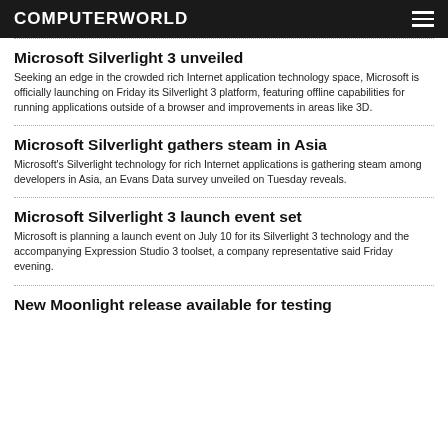COMPUTERWORLD
Microsoft Silverlight 3 unveiled
Seeking an edge in the crowded rich Internet application technology space, Microsoft is officially launching on Friday its Silverlight 3 platform, featuring offline capabilities for running applications outside of a browser and improvements in areas like 3D.
Microsoft Silverlight gathers steam in Asia
Microsoft's Silverlight technology for rich Internet applications is gathering steam among developers in Asia, an Evans Data survey unveiled on Tuesday reveals.
Microsoft Silverlight 3 launch event set
Microsoft is planning a launch event on July 10 for its Silverlight 3 technology and the accompanying Expression Studio 3 toolset, a company representative said Friday evening.
New Moonlight release available for testing